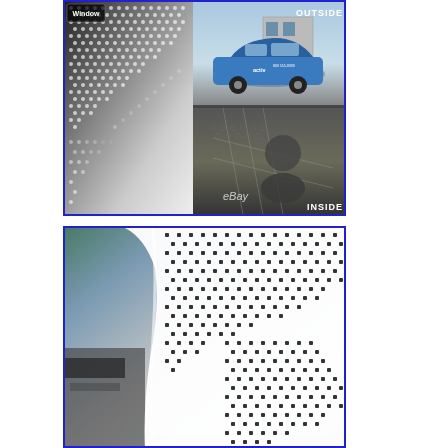[Figure (photo): Composite product photo showing perforated window vinyl film. Left side shows a rolled/curved black perforated vinyl sheet. Right side shows two stacked images: top is an outside view of a blue branded car with window graphics, bottom is an inside view through the perforated film showing a person. Labels read OUTSIDE and INSIDE.]
[Figure (photo): Close-up product photo of a white/clear perforated window vinyl sheet curling, showing the hexagonal perforations. Background shows office/store equipment.]